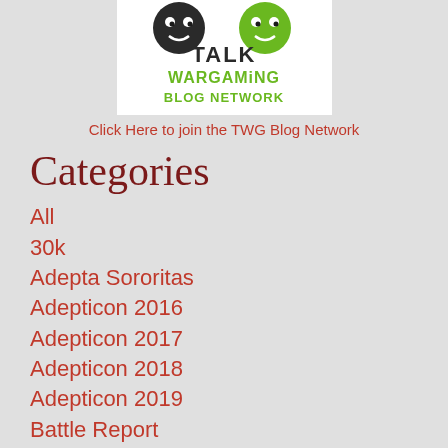[Figure (logo): Talk Wargaming Blog Network logo with stylized faces and green/black text]
Click Here to join the TWG Blog Network
Categories
All
30k
Adepta Sororitas
Adepticon 2016
Adepticon 2017
Adepticon 2018
Adepticon 2019
Battle Report
Black Templar
Bolt Action